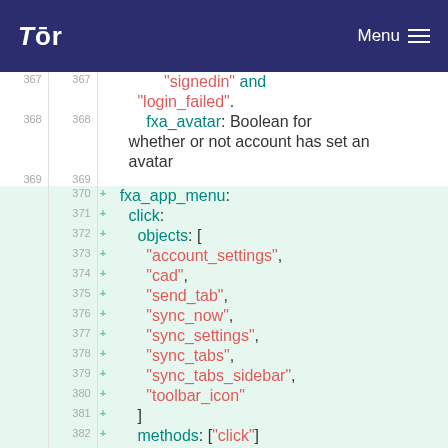Tor Menu
[Figure (screenshot): Code diff view showing lines 367-383 of a file. Lines 367-369 are unchanged (white background), lines 370-383 are new additions (green background). The code shows YAML/config properties including signedin, login_failed, fxa_avatar, fxa_app_menu, click, objects array with account_settings, cad, send_tab, sync_now, sync_settings, sync_tabs, sync_tabs_sidebar, toolbar_icon, methods: [click], and release_channel_collection: opt-]